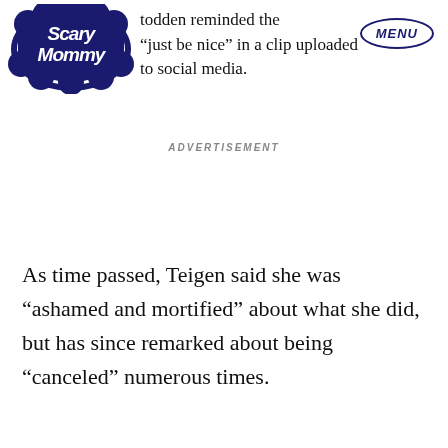[Figure (logo): Scary Mommy logo in dark navy blue, stylized text with cloud-like border]
todden reminded the “just be nice” in a clip uploaded to social media.
ADVERTISEMENT
As time passed, Teigen said she was “ashamed and mortified” about what she did, but has since remarked about being “canceled” numerous times.